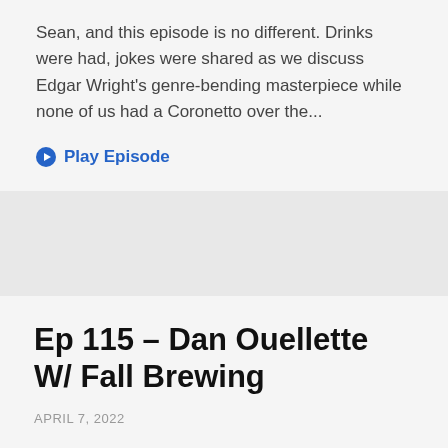Sean, and this episode is no different. Drinks were had, jokes were shared as we discuss Edgar Wright's genre-bending masterpiece while none of us had a Coronetto over the...
Play Episode
Ep 115 – Dan Ouellette W/ Fall Brewing
APRIL 7, 2022